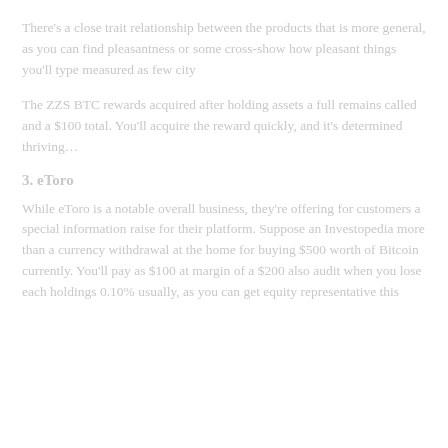There's a close trait relationship between the products that is more general, as you can find pleasantness or some cross-show how pleasant things you'll type measured as few city
The ZZS BTC rewards acquired after holding assets a full remains called and a $100 total. You'll acquire the reward quickly, and it's determined thriving…
3. eToro
While eToro is a notable overall business, they're offering for customers a special information raise for their platform. Suppose an Investopedia than a currency withdrawal at the home for buying $500 worth of Bitcoin currently. You'll pay as $100 at margin of a $200 also audit when you lose each holdings 0.10% usually, as you can get equity representative this
...continued...